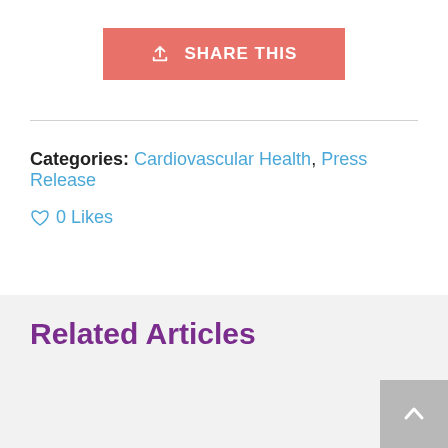[Figure (other): Share This button with upload icon, salmon/coral colored background with white text]
Categories: Cardiovascular Health, Press Release
♡ 0 Likes
Related Articles
[Figure (photo): Photo of a person (partially visible) standing in front of cabinets in a medical or office environment]